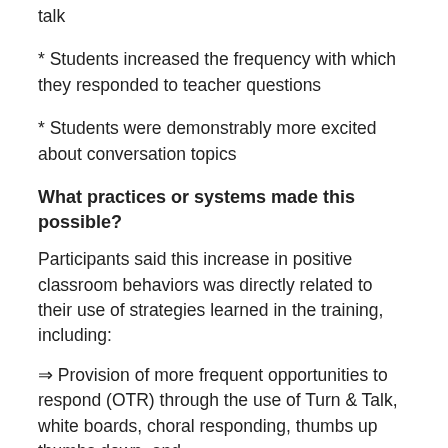* Students increased the frequency with which they responded to teacher questions
* Students were demonstrably more excited about conversation topics
What practices or systems made this possible?
Participants said this increase in positive classroom behaviors was directly related to their use of strategies learned in the training, including:
⇒ Provision of more frequent opportunities to respond (OTR) through the use of Turn & Talk, white boards, choral responding, thumbs up thumbs down, and